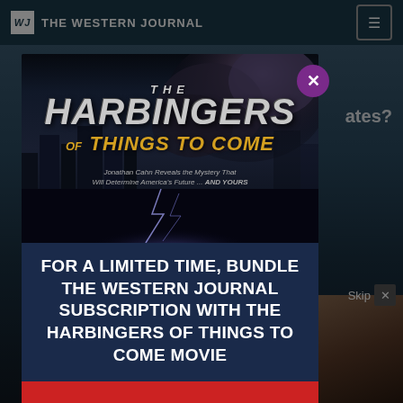THE WESTERN JOURNAL
[Figure (screenshot): Modal popup advertisement on The Western Journal website. Shows a movie poster for 'The Harbingers of Things to Come' with dark dramatic imagery, explosion clouds, city buildings, and lightning. Tagline reads 'Jonathan Cahn Reveals the Mystery That Will Determine America's Future ... AND YOURS'. Features The Western Journal logo. Below the poster: promotional text for a limited-time bundle subscription offer.]
FOR A LIMITED TIME, BUNDLE THE WESTERN JOURNAL SUBSCRIPTION WITH THE HARBINGERS OF THINGS TO COME MOVIE
Skip